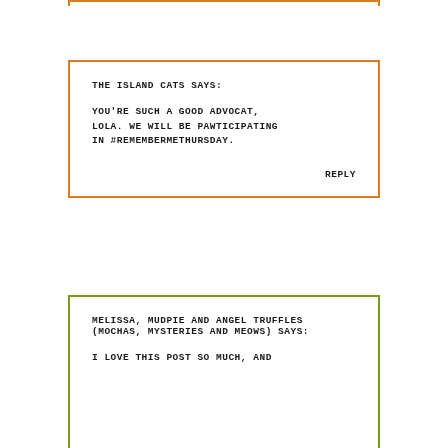THE ISLAND CATS SAYS:

YOU'RE SUCH A GOOD ADVOCAT, LOLA. WE WILL BE PAWTICIPATING IN #REMEMBERMETHURSDAY.

REPLY
MELISSA, MUDPIE AND ANGEL TRUFFLES (MOCHAS, MYSTERIES AND MEOWS) SAYS:

I LOVE THIS POST SO MUCH, AND